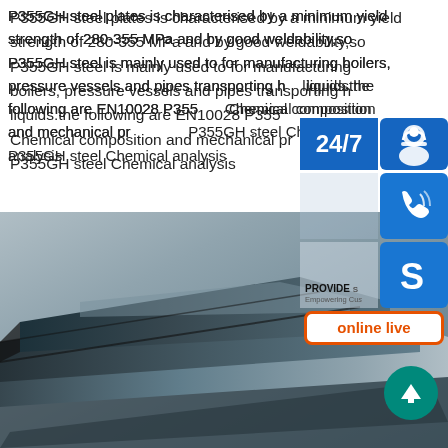P355GH steel plates is characterised by a minimum yield strength of 280-355 MPa and by good weldability,so P355GH steel is mainly used to for manufacturing boilers, pressure vessels and pipes transporting hot liquids.the following are EN10028 P355GH Chemical composition and mechanical properties P355GH steel Chemical analysis
[Figure (photo): Steel plates stacked, showing metallic surface with grey-blue tones and sharp edges visible in the foreground]
[Figure (infographic): Customer service sidebar overlay with 24/7 badge, headset icon, phone icon, Skype icon, PROVIDE Empowering Customers label, online live button, and scroll-to-top arrow button]